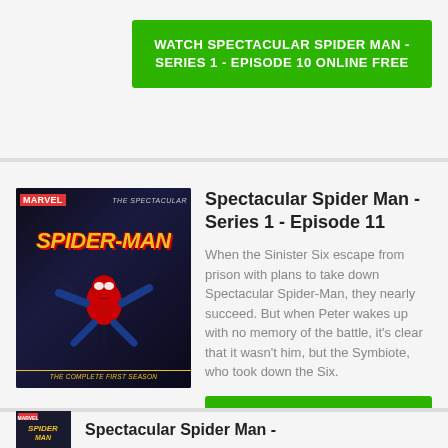[Figure (screenshot): Green watch button for Episode 10: WATCH SPECTACULAR SPIDER MAN - SERIES 1 - EPISODE 10 ONLINE FREE]
[Figure (illustration): Marvel Spectacular Spider-Man The Complete First Season DVD/show cover thumbnail]
Spectacular Spider Man - Series 1 - Episode 11
When the Sinister Six escape from prison with plans to take down Spectacular Spider-Man, they nearly succeed. But when Peter wakes up with no memory of the battle, it's clear that it wasn't him, but the Symbiote, who took down the Six.
[Figure (screenshot): Green watch button for Episode 11: WATCH SPECTACULAR SPIDER MAN - SERIES 1 - EPISODE 11 ONLINE FREE]
[Figure (illustration): Marvel Spectacular Spider-Man show cover thumbnail (second instance)]
Spectacular Spider Man -